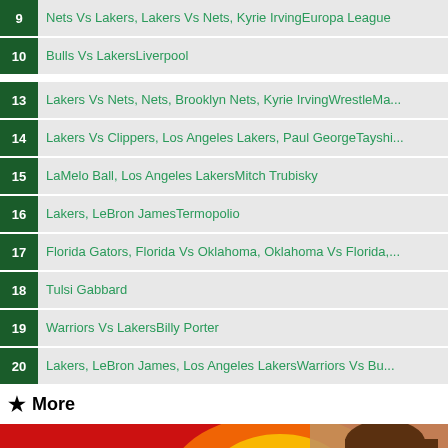9  Nets Vs Lakers, Lakers Vs Nets, Kyrie IrvingEuropa League
10  Bulls Vs LakersLiverpool
13  Lakers Vs Nets, Nets, Brooklyn Nets, Kyrie IrvingWrestleMa...
14  Lakers Vs Clippers, Los Angeles Lakers, Paul GeorgeTayshi...
15  LaMelo Ball, Los Angeles LakersMitch Trubisky
16  Lakers, LeBron JamesTermopolio
17  Florida Gators, Florida Vs Oklahoma, Oklahoma Vs Florida,...
18  Tulsi Gabbard
19  Warriors Vs LakersBilly Porter
20  Lakers, LeBron James, Los Angeles LakersWarriors Vs Bu...
★ More
[Figure (photo): Thumbnail image showing a woman with brown hair against a red/fire background with text 'COOKING MINI BURGER & FRIES' in white bold letters]